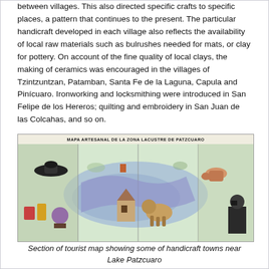between villages. This also directed specific crafts to specific places, a pattern that continues to the present. The particular handicraft developed in each village also reflects the availability of local raw materials such as bulrushes needed for mats, or clay for pottery. On account of the fine quality of local clays, the making of ceramics was encouraged in the villages of Tzintzuntzan, Patamban, Santa Fe de la Laguna, Capula and Pinícuaro. Ironworking and locksmithing were introduced in San Felipe de los Hereros; quilting and embroidery in San Juan de las Colcahas, and so on.
[Figure (map): Section of a tourist map (Mapa Artesanal de la Zona Lacustre de Patzcuaro) showing illustrated handicraft towns near Lake Patzcuaro, with colorful painted illustrations of local crafts and products across the lake region.]
Section of tourist map showing some of handicraft towns near Lake Patzcuaro